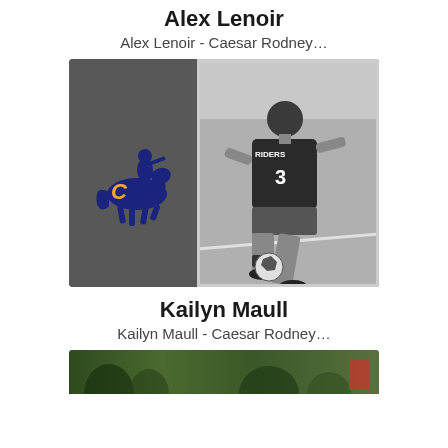Alex Lenoir
Alex Lenoir - Caesar Rodney…
[Figure (photo): Caesar Rodney Riders soccer card featuring the CR horseman logo on dark gray background on the left, and a black-and-white action photo of a female soccer player wearing jersey number 3 dribbling a ball on the right.]
Kailyn Maull
Kailyn Maull - Caesar Rodney…
[Figure (photo): Bottom of another sports card partially visible showing a green outdoor scene.]